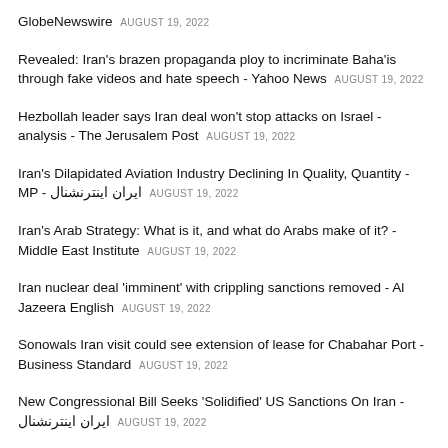GlobeNewswire AUGUST 19, 2022
Revealed: Iran's brazen propaganda ploy to incriminate Baha'is through fake videos and hate speech - Yahoo News AUGUST 19, 2022
Hezbollah leader says Iran deal won't stop attacks on Israel - analysis - The Jerusalem Post AUGUST 19, 2022
Iran's Dilapidated Aviation Industry Declining In Quality, Quantity - MP - ایران اینترنشنال AUGUST 19, 2022
Iran's Arab Strategy: What is it, and what do Arabs make of it? - Middle East Institute AUGUST 19, 2022
Iran nuclear deal 'imminent' with crippling sanctions removed - Al Jazeera English AUGUST 19, 2022
Sonowals Iran visit could see extension of lease for Chabahar Port - Business Standard AUGUST 19, 2022
New Congressional Bill Seeks 'Solidified' US Sanctions On Iran - ایران اینترنشنال AUGUST 19, 2022
Iranian Activists Say Khadirzadeh Health Worsening Since Attempt...